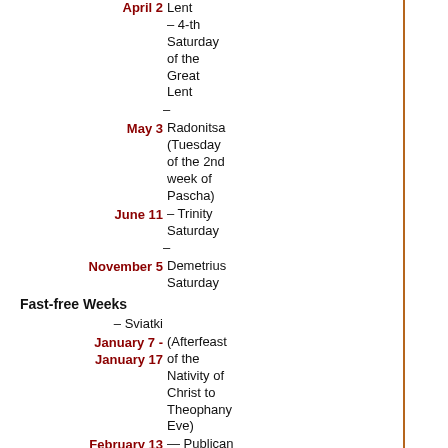April 2 – 4-th Saturday of the Great Lent
May 3 – Radonitsa (Tuesday of the 2nd week of Pascha)
June 11 – Trinity Saturday
November 5 – Demetrius Saturday
Fast-free Weeks
January 7 - January 17 – Sviatki (Afterfeast of the Nativity of Christ to Theophany Eve)
February 13 February 19 — Publican & Pharisee
February 27 — March 5 Maslenitsa
April 24 — Bright